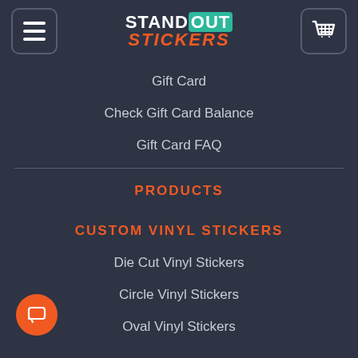[Figure (logo): StandOut Stickers logo with menu button on the left and shopping cart button on the right]
Gift Card
Check Gift Card Balance
Gift Card FAQ
PRODUCTS
CUSTOM VINYL STICKERS
Die Cut Vinyl Stickers
Circle Vinyl Stickers
Oval Vinyl Stickers